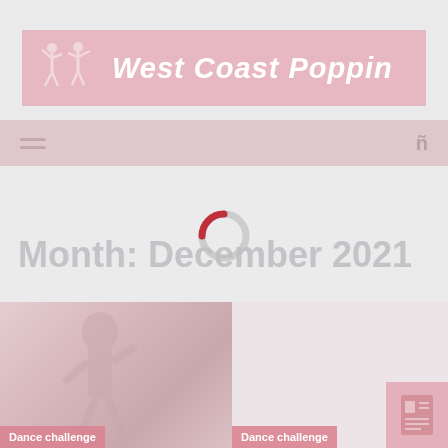[Figure (logo): West Coast Poppin logo banner with two dancing figure silhouettes in white on a pink/rose background, with the text 'West Coast Poppin' in white bold italic]
[Figure (infographic): Navigation bar with hamburger menu icon on left and search/filter icon on right, on dusty pink background]
[Figure (infographic): Loading spinner icon partially overlapping the month heading — a circular ring partially red/dark pink on a gray ring]
Month: December 2021
[Figure (photo): Dance challenge article card on the left — faded pink image of a dancer, with 'Dance challenge' label tag at bottom left in rose/pink color]
[Figure (photo): Dance challenge article card on the right — light gray/pink blank content area with 'Dance challenge' label tag at bottom left in rose/pink color, and a small pink square thumbnail icon at bottom right]